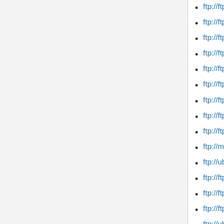ftp://ftp.secyt.gov.ar/ Online!
ftp://ftp.ams.usda.gov/ Online!
ftp://ftp.dataio.com/ Online!
ftp://ftp.symantec.com/ Online!
ftp://ftp.uni-kassel.de/ Online!
ftp://ftp.arin.net/ Online!
ftp://ftp.netwinsite.com/ Online!
ftp://ftp.bu.edu/ Online!
ftp://ftp.iinet.net.au/ Online!
ftp://mirror.internode.on.net/ Online!
ftp://ubuntu.cs.utah.edu/ Online!
ftp://ftp.ussg.iu.edu/ Online!
ftp://ftp.stw-bonn.de/ Online!
ftp://ftp.cse.yzu.edu.tw/ Online!
ftp://ubuntu.task.gda.pl/ Online!
ftp://ftp.citylink.co.nz/ Online!
ftp://ftp.oleane.net/ Online!
ftp://ftp.cs.mun.ca/ Online!